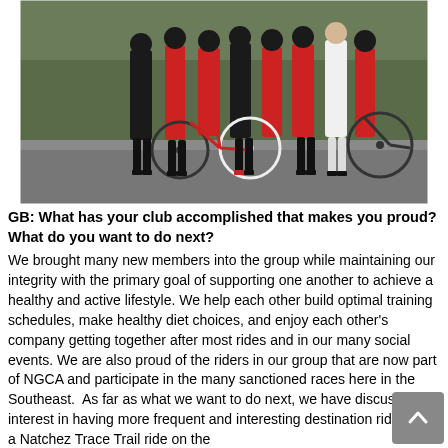[Figure (photo): Group photo of cyclists in red and black cycling kits standing with their bikes on a road or parking area. Multiple bicycles visible in the foreground.]
GB: What has your club accomplished that makes you proud? What do you want to do next?
We brought many new members into the group while maintaining our integrity with the primary goal of supporting one another to achieve a healthy and active lifestyle. We help each other build optimal training schedules, make healthy diet choices, and enjoy each other's company getting together after most rides and in our many social events. We are also proud of the riders in our group that are now part of NGCA and participate in the many sanctioned races here in the Southeast.  As far as what we want to do next, we have discussed an interest in having more frequent and interesting destination rides with a Natchez Trace Trail ride on the